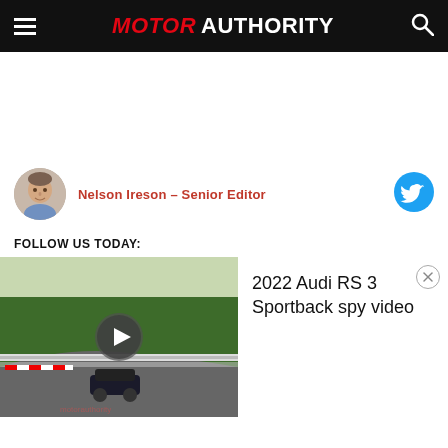MOTOR AUTHORITY
[Figure (photo): Author headshot of Nelson Ireson, a man in a light shirt, circular crop]
Nelson Ireson – Senior Editor
[Figure (logo): Twitter bird icon in cyan/blue circle]
FOLLOW US TODAY:
[Figure (screenshot): Video thumbnail showing a dark car on the Nurburgring race track, with red and white curbing, from a spy video of the 2022 Audi RS 3 Sportback]
2022 Audi RS 3 Sportback spy video